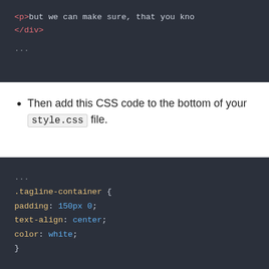[Figure (screenshot): Code editor dark background showing HTML snippet: <p>but we can make sure, that you kno... </div> ...]
Then add this CSS code to the bottom of your style.css file.
[Figure (screenshot): Code editor dark background showing CSS snippet: ... .tagline-container { padding: 150px 0; text-align: center; color: white; }]